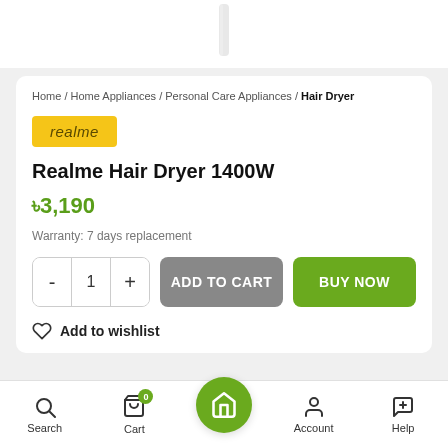[Figure (photo): Partial view of a white hair dryer handle at the top of the page]
Home / Home Appliances / Personal Care Appliances / Hair Dryer
[Figure (logo): realme brand badge in yellow/gold background with italic text]
Realme Hair Dryer 1400W
৳3,190
Warranty: 7 days replacement
ADD TO CART
BUY NOW
Add to wishlist
Search  Cart  Home  Account  Help